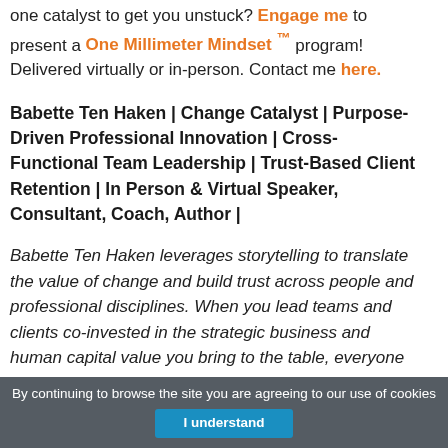one catalyst to get you unstuck? Engage me to present a One Millimeter Mindset ™ program! Delivered virtually or in-person. Contact me here.
Babette Ten Haken | Change Catalyst | Purpose-Driven Professional Innovation | Cross-Functional Team Leadership | Trust-Based Client Retention | In Person & Virtual Speaker, Consultant, Coach, Author |
Babette Ten Haken leverages storytelling to translate the value of change and build trust across people and professional disciplines. When you lead teams and clients co-invested in the strategic business and human capital value you bring to the table, everyone
By continuing to browse the site you are agreeing to our use of cookies
I understand